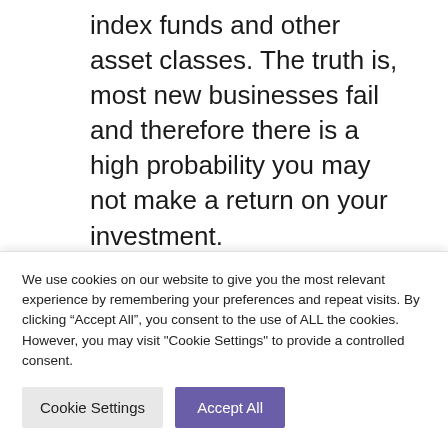index funds and other asset classes. The truth is, most new businesses fail and therefore there is a high probability you may not make a return on your investment.
Andy Avim MBE treated
We use cookies on our website to give you the most relevant experience by remembering your preferences and repeat visits. By clicking “Accept All”, you consent to the use of ALL the cookies. However, you may visit "Cookie Settings" to provide a controlled consent.